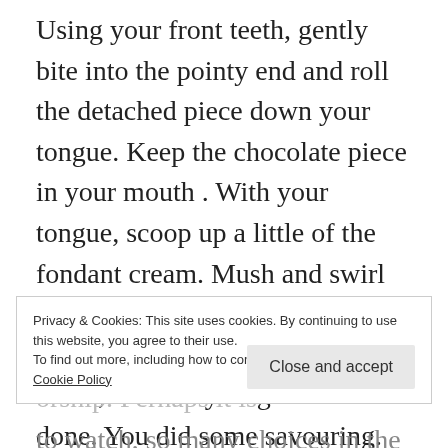Using your front teeth, gently bite into the pointy end and roll the detached piece down your tongue. Keep the chocolate piece in your mouth . With your tongue, scoop up a little of the fondant cream. Mush and swirl the chocolate and fondant together in your mouth for a while, until they’re gone. Well done. You did some savouring. And you didn’t even need to buy a Creme Egg.
Savouring is part of Slow and it is also perhaps
orship. Perhaps it is
that we find ourselves in: so much music to hear, so many books to read, so many box sets to watch, so many choices in the shops, so
Privacy & Cookies: This site uses cookies. By continuing to use this website, you agree to their use.
To find out more, including how to control cookies, see here:
Cookie Policy